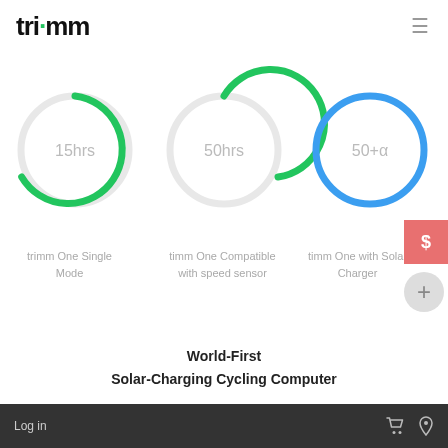trimm (logo) — navigation menu
[Figure (infographic): Three circular gauge/donut indicators showing battery/usage hours. First gauge (green partial arc, ~75%) labeled '15hrs'. Second gauge (green nearly full arc, ~90%) labeled '50hrs'. Third gauge (blue full circle) labeled '50+α'.]
trimm One Single Mode
timm One Compatible with speed sensor
timm One with Solar Charger
World-First
Solar-Charging Cycling Computer
Log in  [cart icon]  [location icon]